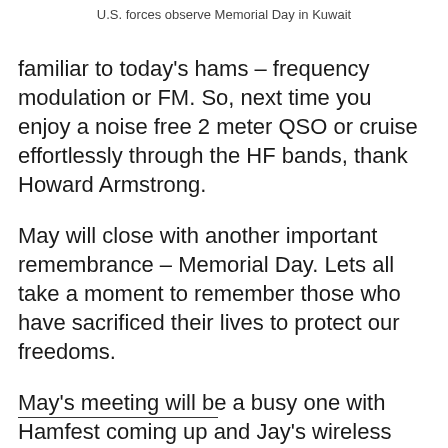U.S. forces observe Memorial Day in Kuwait
familiar to today's hams – frequency modulation or FM. So, next time you enjoy a noise free 2 meter QSO or cruise effortlessly through the HF bands, thank Howard Armstrong.
May will close with another important remembrance – Memorial Day. Lets all take a moment to remember those who have sacrificed their lives to protect our freedoms.
May's meeting will be a busy one with Hamfest coming up and Jay's wireless hotspot presentation. Hope to see you there!